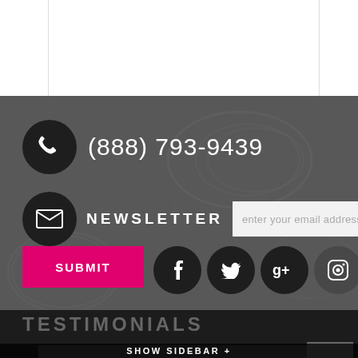[Figure (screenshot): Website footer section with dark patterned background containing phone number, newsletter signup with email input, submit button, and social media icons (Facebook, Twitter, Google+, Instagram, Email, Pinterest). Below is a dark section with TESTIMONIALS heading and a testimonial quote box with a back-to-top button and SHOW SIDEBAR bar.]
(888) 793-9439
NEWSLETTER
enter your email address
SUBMIT
TESTIMONIALS
This was the greatest weekend getaway basket ever. It had every romantic thing my boyfriend and I needed for the romantic getaway. I was pleased, thank you Sensual Gifts for making this!
SHOW SIDEBAR +